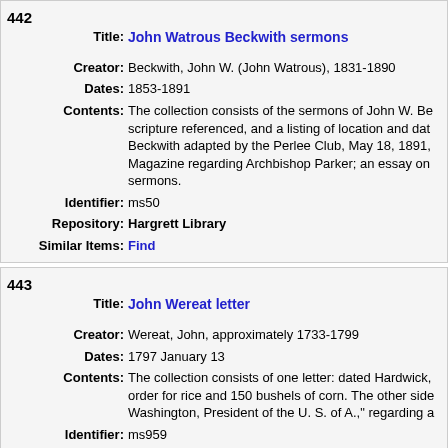| # | Field | Value |
| --- | --- | --- |
| 442 | Title | John Watrous Beckwith sermons |
|  | Creator | Beckwith, John W. (John Watrous), 1831-1890 |
|  | Dates | 1853-1891 |
|  | Contents | The collection consists of the sermons of John W. Be... scripture referenced, and a listing of location and dat... Beckwith adapted by the Perlee Club, May 18, 1891,... Magazine regarding Archbishop Parker; an essay on... sermons. |
|  | Identifier | ms50 |
|  | Repository | Hargrett Library |
|  | Similar Items | Find |
| # | Field | Value |
| --- | --- | --- |
| 443 | Title | John Wereat letter |
|  | Creator | Wereat, John, approximately 1733-1799 |
|  | Dates | 1797 January 13 |
|  | Contents | The collection consists of one letter: dated Hardwick,... order for rice and 150 bushels of corn. The other side... Washington, President of the U. S. of A." regarding a... |
|  | Identifier | ms959 |
|  | Repository | Hargrett Library |
|  | Similar Items | Find |
| # | Field | Value |
| --- | --- | --- |
| 444 | Title | John William Nicholson biographical information |
|  | Creator | Unknown |